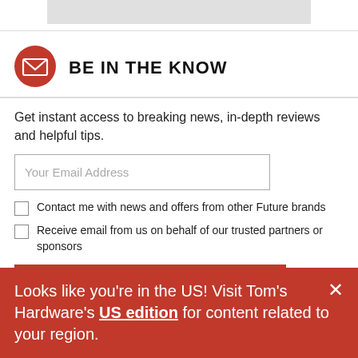[Figure (illustration): Red circle with white envelope/mail icon]
BE IN THE KNOW
Get instant access to breaking news, in-depth reviews and helpful tips.
Your Email Address (input field placeholder)
Contact me with news and offers from other Future brands
Receive email from us on behalf of our trusted partners or sponsors
SIGN ME UP
Looks like you're in the US! Visit Tom's Hardware's US edition for content related to your region.